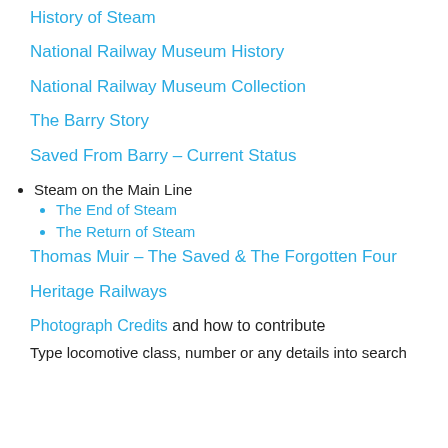History of Steam
National Railway Museum History
National Railway Museum Collection
The Barry Story
Saved From Barry – Current Status
Steam on the Main Line
The End of Steam
The Return of Steam
Thomas Muir – The Saved & The Forgotten Four
Heritage Railways
Photograph Credits and how to contribute
Type locomotive class, number or any details into search